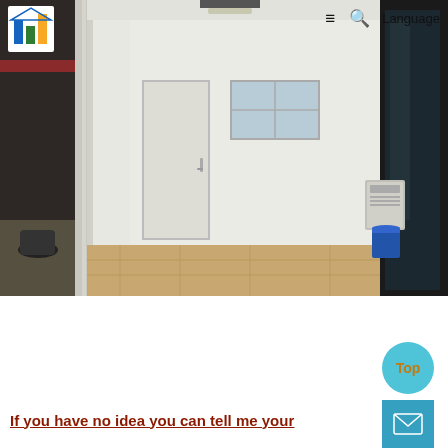Language
[Figure (photo): Interior of a modular/prefab container room showing white panel walls, a door with handle, wooden laminate flooring, ceiling light fixture, and a window. On the right side, a dark glass panel/door and a blue container/bucket. Outside visible through left doorway shows a covered outdoor area with a motorcycle.]
If you have no idea you can tell me your
[Figure (logo): Colorful bar chart logo with blue, green and orange/yellow bars representing a building or data company]
Top
[Figure (other): Mail/envelope icon button]